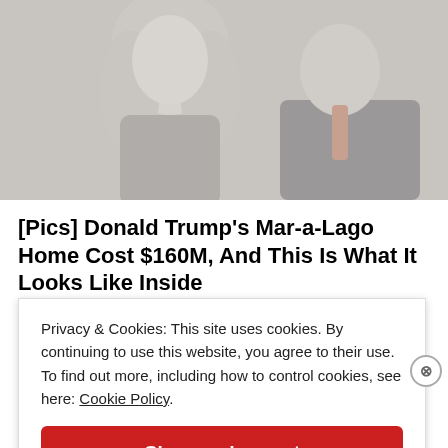[Figure (photo): Photo of two people (a woman with blonde hair and a man in a suit with a red patterned tie), faded/grayed out]
[Pics] Donald Trump's Mar-a-Lago Home Cost $160M, And This Is What It Looks Like Inside
BuzzAura
Privacy & Cookies: This site uses cookies. By continuing to use this website, you agree to their use. To find out more, including how to control cookies, see here: Cookie Policy
Close and accept